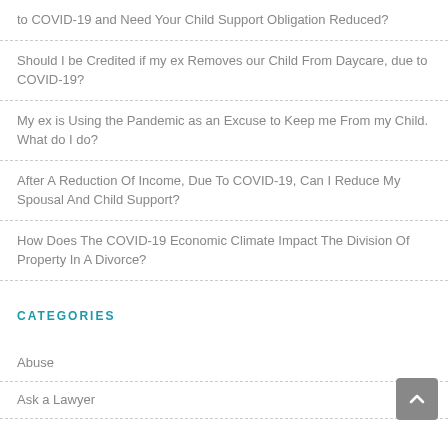to COVID-19 and Need Your Child Support Obligation Reduced?
Should I be Credited if my ex Removes our Child From Daycare, due to COVID-19?
My ex is Using the Pandemic as an Excuse to Keep me From my Child. What do I do?
After A Reduction Of Income, Due To COVID-19, Can I Reduce My Spousal And Child Support?
How Does The COVID-19 Economic Climate Impact The Division Of Property In A Divorce?
CATEGORIES
Abuse
Ask a Lawyer